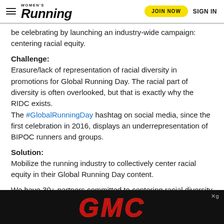Women's Running — JOIN NOW | SIGN IN
be celebrating by launching an industry-wide campaign: centering racial equity.
Challenge:
Erasure/lack of representation of racial diversity in promotions for Global Running Day. The racial part of diversity is often overlooked, but that is exactly why the RIDC exists. The #GlobalRunningDay hashtag on social media, since the first celebration in 2016, displays an underrepresentation of BIPOC runners and groups.
Solution:
Mobilize the running industry to collectively center racial equity in their Global Running Day content.
We have 30+ partners committed to centering racial diversity in their promotions on this day. And we want to see many Black, Indigenous, and people of color take up space in our social media feed (looking at you @districtrunningcollective @latinx... @orig... @anti...
[Figure (logo): GMC advertisement banner — black background with large red italic GMC logo text]